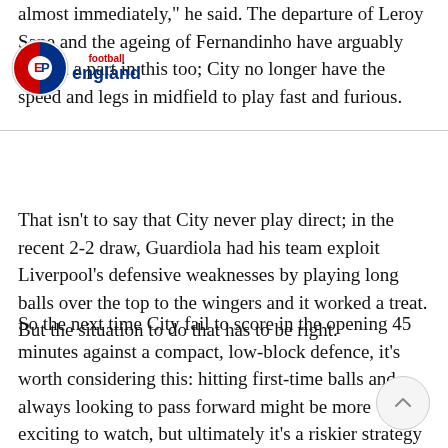[Figure (logo): EPFootball England logo with red and blue circular badge and the text 'football' in red and 'england' in blue bold below it]
almost immediately," he said. The departure of Leroy Sane and the ageing of Fernandinho have arguably played a part in this too; City no longer have the speed and legs in midfield to play fast and furious.
That isn't to say that City never play direct; in the recent 2-2 draw, Guardiola had his team exploit Liverpool's defensive weaknesses by playing long balls over the top to the wingers and it worked a treat. But the situation to do that has to be right.
So the next time City fail to score in the opening 45 minutes against a compact, low-block defence, it's worth considering this: hitting first-time balls and always looking to pass forward might be more exciting to watch, but ultimately it's a riskier strategy that brings